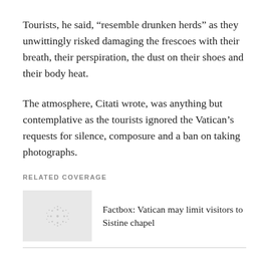Tourists, he said, “resemble drunken herds” as they unwittingly risked damaging the frescoes with their breath, their perspiration, the dust on their shoes and their body heat.
The atmosphere, Citati wrote, was anything but contemplative as the tourists ignored the Vatican’s requests for silence, composure and a ban on taking photographs.
RELATED COVERAGE
[Figure (photo): Small thumbnail image placeholder with circular dotted pattern on light grey background]
Factbox: Vatican may limit visitors to Sistine chapel